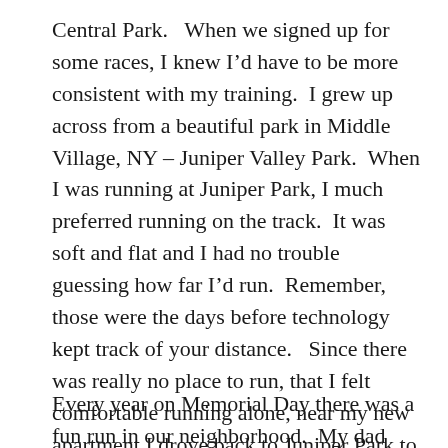Central Park.   When we signed up for some races, I knew I'd have to be more consistent with my training.  I grew up across from a beautiful park in Middle Village, NY – Juniper Valley Park.  When I was running at Juniper Park, I much preferred running on the track.  It was soft and flat and I had no trouble guessing how far I'd run.  Remember, those were the days before technology kept track of your distance.   Since there was really no place to run, that I felt comfortable running alone, near my new apartment I drove back to Juniper Park to run.
Every year on Memorial Day there was a fun run in our neighborhood.  My dad and I would run